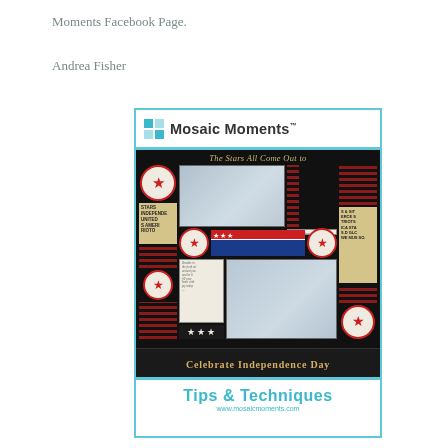Moments Facebook Page.
Andrea Fisher
[Figure (illustration): Mosaic Moments Tips & Techniques magazine cover featuring a patriotic scrapbook layout titled 'Celebrate Independence Day' with stars, stripes, and red/white/blue elements.]
MM STARS COMPLETE GREAT PATRIOTIC SCRAPBOOK PAGES WITH DIES FROM SNAP-N-CROP.COM